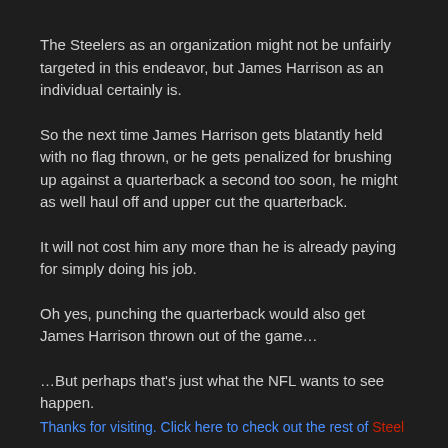The Steelers as an organization might not be unfairly targeted in this endeavor, but James Harrison as an individual certainly is.
So the next time James Harrison gets blatantly held with no flag thrown, or he gets penalized for brushing up against a quarterback a second too soon, he might as well haul off and upper cut the quarterback.
It will not cost him any more than he is already paying for simply doing his job.
Oh yes, punching the quarterback would also get James Harrison thrown out of the game…
…But perhaps that's just what the NFL wants to see happen.
Thanks for visiting. Click here to check out the rest of Steel…